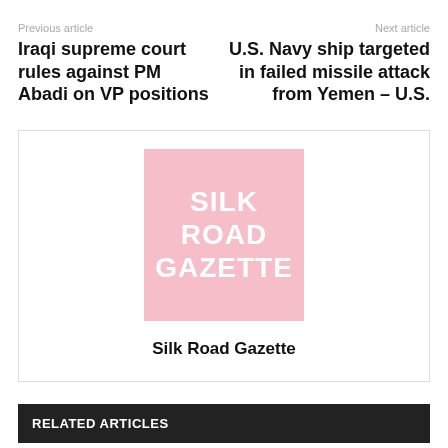Previous article
Next article
Iraqi supreme court rules against PM Abadi on VP positions
U.S. Navy ship targeted in failed missile attack from Yemen – U.S.
[Figure (logo): Silk Road Gazette logo: pink/light red square with white bold text reading SILK ROAD GAZETTE]
Silk Road Gazette
RELATED ARTICLES
MORE FROM AUTHOR